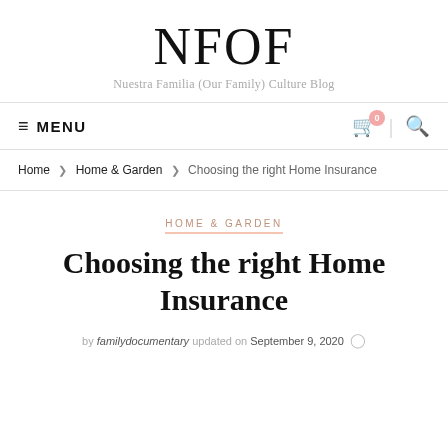NFOF
Nuestra Familia (Our Family) Culture Blog
MENU
Home › Home & Garden › Choosing the right Home Insurance
HOME & GARDEN
Choosing the right Home Insurance
by familydocumentary updated on September 9, 2020